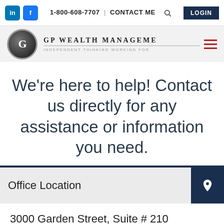1-800-608-7707 | CONTACT ME | LOGIN
[Figure (logo): GP Wealth Management logo with circular GP monogram icon and text 'GP WEALTH MANAGEME' with tagline 'INDEPENDENT THINKING WORKING FOR']
We're here to help! Contact us directly for any assistance or information you need.
Office Location
3000 Garden Street, Suite # 210